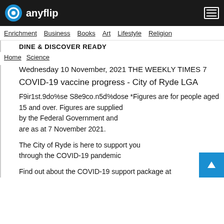anyflip
Enrichment   Business   Books   Art   Lifestyle   Religion
DINE & DISCOVER READY
Home   Science
Wednesday 10 November, 2021 THE WEEKLY TIMES 7
COVID-19 vaccine progress - City of Ryde LGA
F9ir1st.9do%se S8e9co.n5d%dose *Figures are for people aged 15 and over. Figures are supplied by the Federal Government and are as at 7 November 2021.
The City of Ryde is here to support you through the COVID-19 pandemic
Find out about the COVID-19 support package at